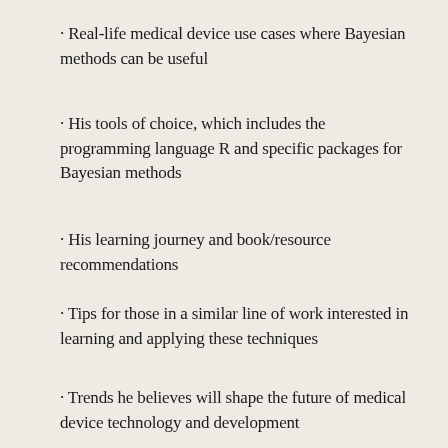· Real-life medical device use cases where Bayesian methods can be useful
· His tools of choice, which includes the programming language R and specific packages for Bayesian methods
· His learning journey and book/resource recommendations
· Tips for those in a similar line of work interested in learning and applying these techniques
· Trends he believes will shape the future of medical device technology and development